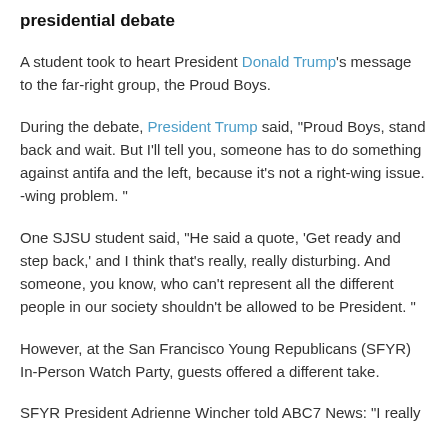presidential debate
A student took to heart President Donald Trump's message to the far-right group, the Proud Boys.
During the debate, President Trump said, “Proud Boys, stand back and wait. But I’ll tell you, someone has to do something against antifa and the left, because it’s not a right-wing issue. -wing problem. ”
One SJSU student said, “He said a quote, ‘Get ready and step back,’ and I think that’s really, really disturbing. And someone, you know, who can’t represent all the different people in our society shouldn’t be allowed to be President. ”
However, at the San Francisco Young Republicans (SFYR) In-Person Watch Party, guests offered a different take.
SFYR President Adrienne Wincher told ABC7 News: “I really